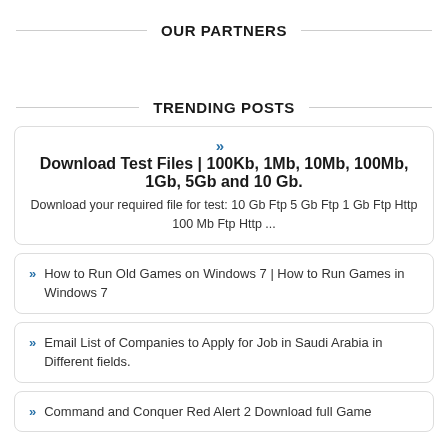OUR PARTNERS
TRENDING POSTS
Download Test Files | 100Kb, 1Mb, 10Mb, 100Mb, 1Gb, 5Gb and 10 Gb. — Download your required file for test: 10 Gb Ftp 5 Gb Ftp 1 Gb Ftp Http 100 Mb Ftp Http ...
How to Run Old Games on Windows 7 | How to Run Games in Windows 7
Email List of Companies to Apply for Job in Saudi Arabia in Different fields.
Command and Conquer Red Alert 2 Download full Game